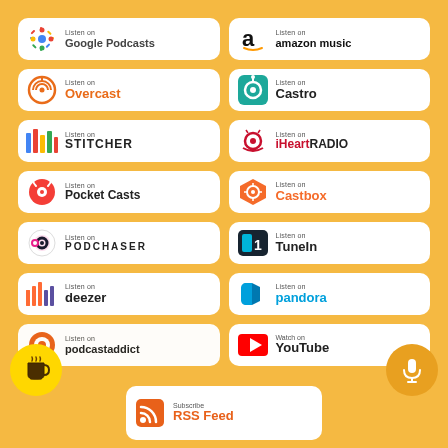[Figure (infographic): Grid of podcast platform badges on orange background. Badges: Google Podcasts, Amazon Music, Overcast, Castro, Stitcher, iHeartRADIO, Pocket Casts, Castbox, Podchaser, TuneIn, Deezer, Pandora, Podcast Addict, YouTube, RSS Feed. Plus coffee cup and microphone circle buttons.]